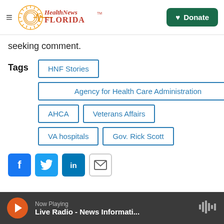Health News Florida - Donate
seeking comment.
Tags: HNF Stories | Agency for Health Care Administration | AHCA | Veterans Affairs | VA hospitals | Gov. Rick Scott
Now Playing - Live Radio - News Informati...